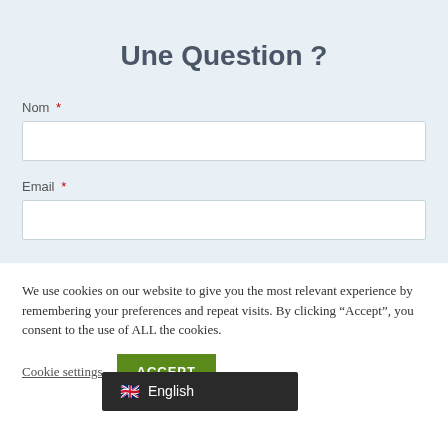Une Question ?
Nom *
Email *
We use cookies on our website to give you the most relevant experience by remembering your preferences and repeat visits. By clicking “Accept”, you consent to the use of ALL the cookies.
Cookie settings
ACCEPT
🇬🇧 English